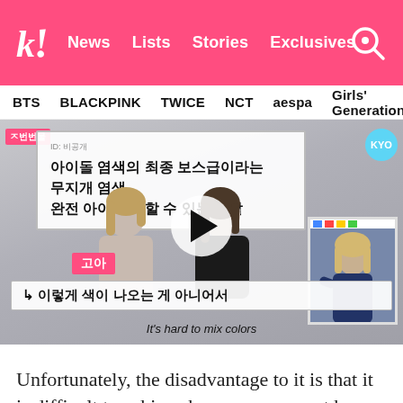k! News   Lists   Stories   Exclusives
BTS   BLACKPINK   TWICE   NCT   aespa   Girls' Generation
[Figure (screenshot): Screenshot of a Korean TV show/internet video about idol hair dyeing. Two women sitting at a desk. Korean text overlay reads: 아이돌 염색의 최종 보스급이라는 무지개 염색 완전 아이돌만 할 수 있는 색깔. Name tag shows 고아. Subtitle: ↳이렇게 색이 나오는 게 아니어서. English caption: It's hard to mix colors. A play button is visible in the center. An inset photo of a blonde woman is in the top-right.]
Unfortunately, the disadvantage to it is that it is difficult to achieve because you must have a